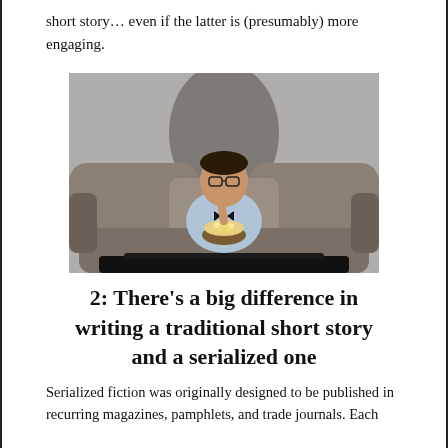short story… even if the latter is (presumably) more engaging.
[Figure (photo): A man wearing glasses and a bow tie sitting on a gray couch eating popcorn from a bowl, with a TV remote in the foreground and a shadow on the wall behind him.]
2: There's a big difference in writing a traditional short story and a serialized one
Serialized fiction was originally designed to be published in recurring magazines, pamphlets, and trade journals. Each